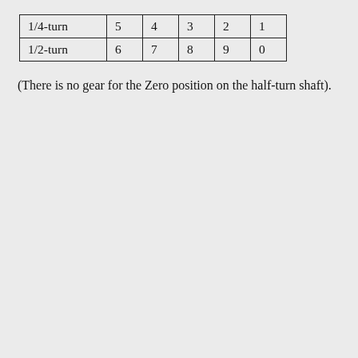| 1/4-turn | 5 | 4 | 3 | 2 | 1 |
| 1/2-turn | 6 | 7 | 8 | 9 | 0 |
(There is no gear for the Zero position on the half-turn shaft).